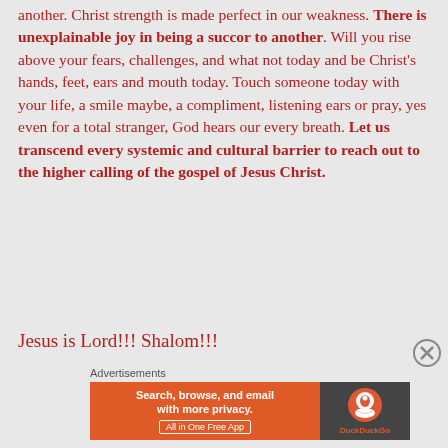another. Christ strength is made perfect in our weakness. There is unexplainable joy in being a succor to another. Will you rise above your fears, challenges, and what not today and be Christ's hands, feet, ears and mouth today. Touch someone today with your life, a smile maybe, a compliment, listening ears or pray, yes even for a total stranger, God hears our every breath. Let us transcend every systemic and cultural barrier to reach out to the higher calling of the gospel of Jesus Christ.
Jesus is Lord!!! Shalom!!!
[Figure (other): DuckDuckGo advertisement banner: orange background with text 'Search, browse, and email with more privacy. All in One Free App' on the left side, and DuckDuckGo logo on dark right panel.]